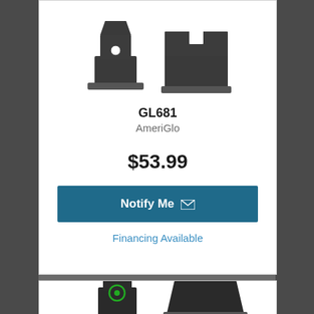[Figure (photo): Two gun sights/firearm sight components shown from side view - dark metallic parts]
GL681
AmeriGlo
$53.99
Notify Me
Financing Available
[Figure (photo): Two gun sights - front sight with green circle ring and rear sight, dark metallic parts on white background]